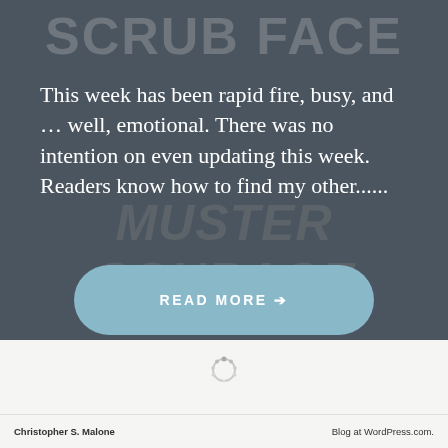[Figure (photo): Dark grey background with faint chalkboard/graffiti text reading 'SCRUB FACE' at top and 'MUSTER COURAGE' at bottom, overlaid with blog post text and a Read More button]
This week has been rapid fire, busy, and … well, emotional. There was no intention on even updating this week. Readers know how to find my other......
READ MORE →
[Figure (other): Loading spinner icon]
Christopher S. Malone    Blog at WordPress.com.